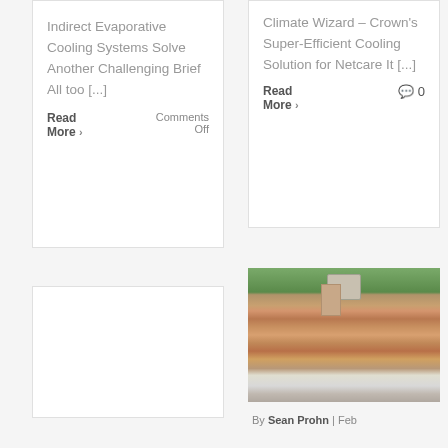Indirect Evaporative Cooling Systems Solve Another Challenging Brief All too [...]
Read More › Comments Off
Climate Wizard – Crown's Super-Efficient Cooling Solution for Netcare It [...]
Read More › 🗨 0
[Figure (photo): Blank white card area, bottom left]
[Figure (photo): Photo of a tiled roof with an evaporative cooling unit mounted on top, trees visible in background, white wall below]
By Sean Prohn | Feb